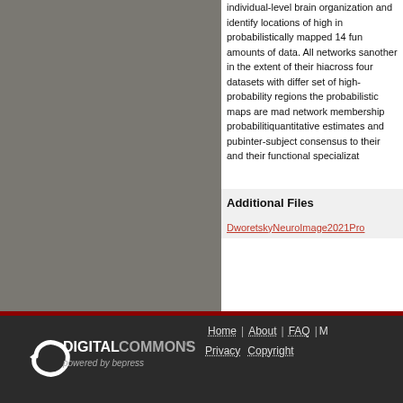individual-level brain organization and identify locations of high inter-subject consensus. We probabilistically mapped 14 functional networks using varying amounts of data. All networks showed variability from one another in the extent of their high-probability regions both across four datasets with different field strengths. The core set of high-probability regions of each network differs as the probabilistic maps are made available along with all individual network membership probability maps to provide quantitative estimates and public reference. We relate inter-subject consensus to their functional connectivity profiles and their functional specialization.
Additional Files
DworetskyNeuroImage2021Pro...
Digital Commons powered by bepress | Home | About | FAQ | More | Privacy | Copyright